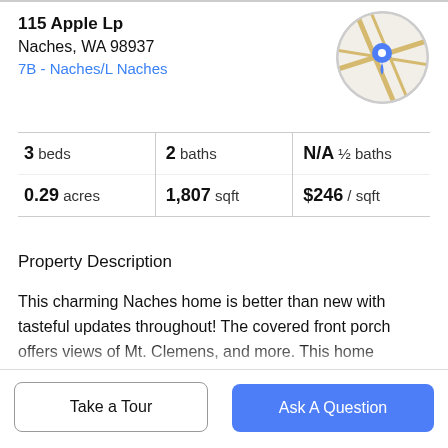115 Apple Lp
Naches, WA 98937
7B - Naches/L Naches
[Figure (map): Circular map thumbnail showing location with a blue pin marker]
| 3 beds | 2 baths | N/A ½ baths |
| 0.29 acres | 1,807 sqft | $246 / sqft |
Property Description
This charming Naches home is better than new with tasteful updates throughout! The covered front porch offers views of Mt. Clemens, and more. This home features an open concept layout, lots of light, and amazing space throughout! On the main floor you'll find two